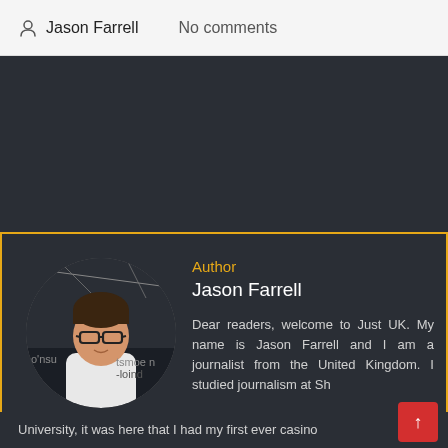Jason Farrell   No comments
[Figure (photo): Dark background area, likely advertisement or image placeholder]
[Figure (photo): Circular headshot photo of Jason Farrell, a man with glasses, dark hair, wearing a white shirt, photographed indoors with dark background and partial text visible]
Author
Jason Farrell
Dear readers, welcome to Just UK. My name is Jason Farrell and I am a journalist from the United Kingdom. I studied journalism at Sh University, it was here that I had my first ever casino